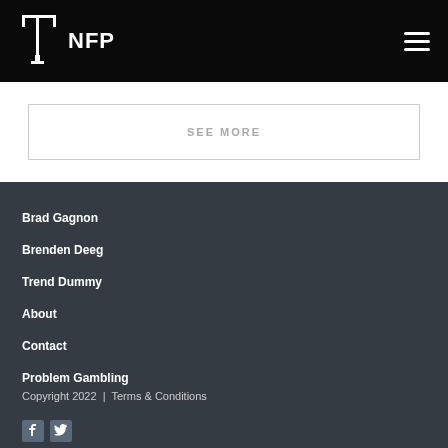NFP
SEE MORE
Brad Gagnon
Brenden Deeg
Trend Dummy
About
Contact
Problem Gambling
Copyright 2022 | Terms & Conditions